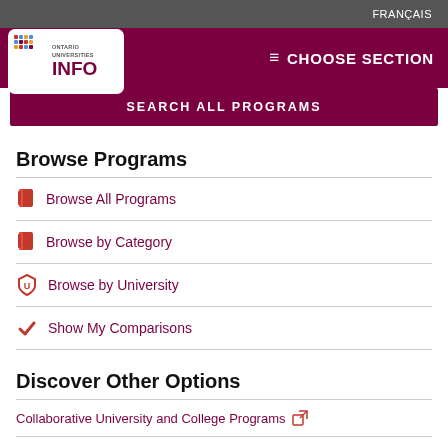FRANÇAIS
[Figure (logo): Ontario Universities INFO logo with colorful dot grid pattern]
≡ CHOOSE SECTION
SEARCH ALL PROGRAMS
Browse Programs
Browse All Programs
Browse by Category
Browse by University
Show My Comparisons
Discover Other Options
Collaborative University and College Programs
Programs Requiring Prior University Study